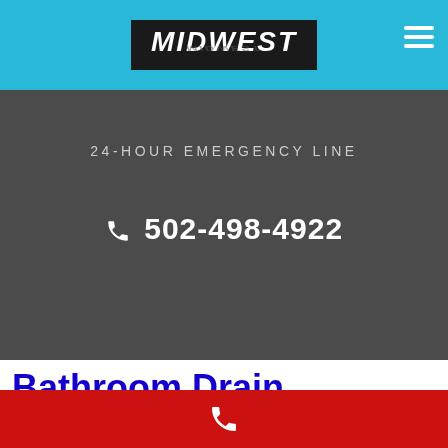MIDWEST
24-HOUR EMERGENCY LINE
✆ 502-498-4922
Bathroom Drain Cleaning Services Klawock Alaska